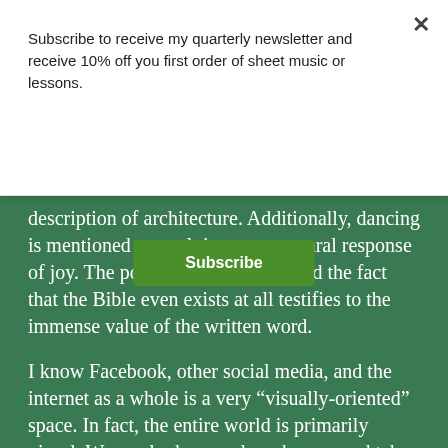Subscribe to receive my quarterly newsletter and receive 10% off you first order of sheet music or lessons.
Subscribe
description of architecture. Additionally, dancing is mentioned several times as a natural response of joy. The poetry of the Psalms, and the fact that the Bible even exists at all testifies to the immense value of the written word.
I know Facebook, other social media, and the internet as a whole is a very “visually-oriented” space. In fact, the entire world is primarily visual. We can look around our houses and take snapshots with our eyes in a split second. Music requires us to stop, sit and experience it in the